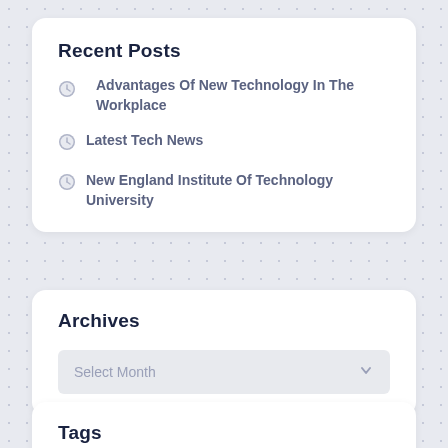Recent Posts
Advantages Of New Technology In The Workplace
Latest Tech News
New England Institute Of Technology University
Archives
Select Month
Tags